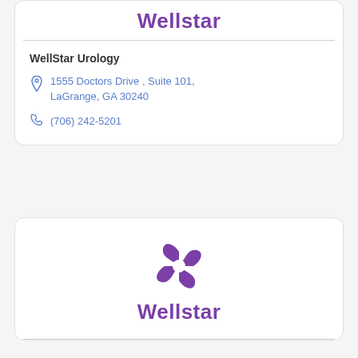[Figure (logo): Wellstar logo text in purple at top of first card]
WellStar Urology
1555 Doctors Drive , Suite 101, LaGrange, GA 30240
(706) 242-5201
[Figure (logo): Wellstar logo with purple pinwheel/cross icon and Wellstar text in purple]